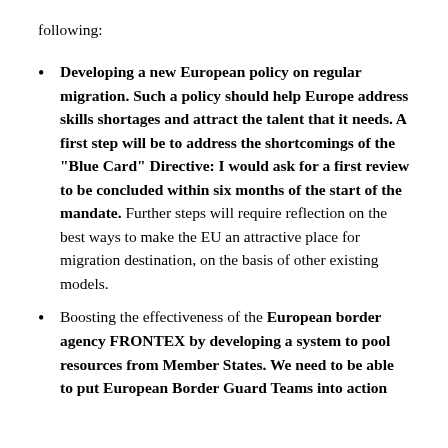following:
Developing a new European policy on regular migration. Such a policy should help Europe address skills shortages and attract the talent that it needs. A first step will be to address the shortcomings of the “Blue Card” Directive: I would ask for a first review to be concluded within six months of the start of the mandate. Further steps will require reflection on the best ways to make the EU an attractive place for migration destination, on the basis of other existing models.
Boosting the effectiveness of the European border agency FRONTEX by developing a system to pool resources from Member States. We need to be able to put European Border Guard Teams into action